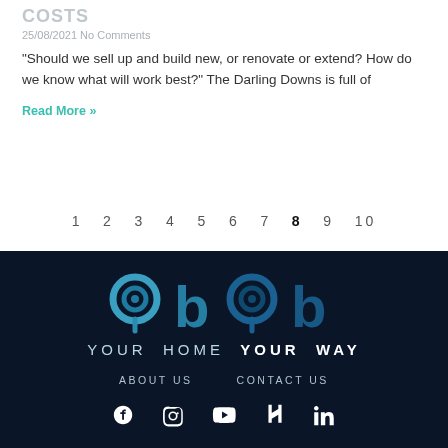COSTS
25/08/2021 No Comments
“Should we sell up and build new, or renovate or extend? How do we know what will work best?” The Darling Downs is full of
Read More »
1 2 3 4 5 6 7 8 9 10
[Figure (logo): Your Home Your Way logo - two pairs of circular target icons and letter b icons in blue gradient, with text YOUR HOME YOUR WAY below]
ABOUT US    CONTACT US
[Figure (infographic): Social media icons: Facebook, Instagram, YouTube, Houzz, LinkedIn]